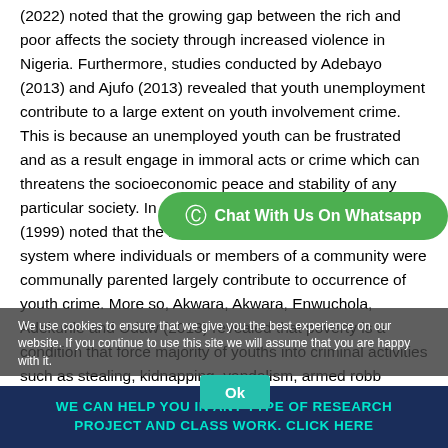(2022) noted that the growing gap between the rich and poor affects the society through increased violence in Nigeria. Furthermore, studies conducted by Adebayo (2013) and Ajufo (2013) revealed that youth unemployment contribute to a large extent on youth involvement crime. This is because an unemployed youth can be frustrated and as a result engage in immoral acts or crime which can threatens the socioeconomic peace and stability of any particular society. In similar view, Olutayo and Oluwole (1999) noted that the breakdown of the extended family system where individuals or members of a community were communally parented largely contribute to occurrence of youth crime. More so, Akwara, Akwara, Enwuchola, Adekunle and Udaw (2013) revealed that poverty is a condition that force majority of youths into criminal activities such as stealing, kidnapping, vandalism, armed robbery, arson, political thugs and...
[Figure (other): WhatsApp chat banner overlay - green rounded button with WhatsApp icon and text 'Chat With Us On Whatsapp']
We use cookies to ensure that we give you the best experience on our website. If you continue to use this site we will assume that you are happy with it.
[Figure (other): Ok button - teal/green rounded rectangle with text 'Ok']
WE CAN HELP YOU IN ANY TYPE OF RESEARCH PROJECT AND CLASS WORK. CLICK HERE